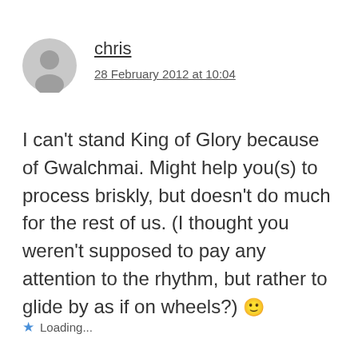chris
28 February 2012 at 10:04
I can’t stand King of Glory because of Gwalchmai. Might help you(s) to process briskly, but doesn’t do much for the rest of us. (I thought you weren’t supposed to pay any attention to the rhythm, but rather to glide by as if on wheels?) 🙂
Loading...